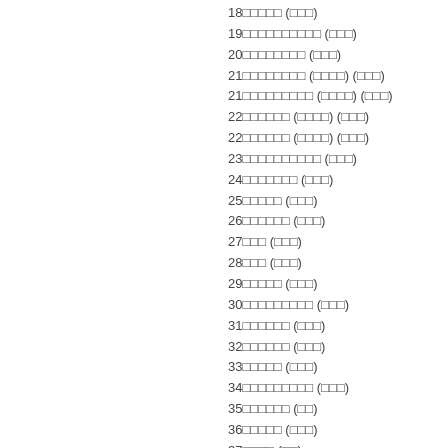18□□□□□ (□□□)
19□□□□□□□□□□ (□□□)
20□□□□□□□□ (□□□)
21□□□□□□□□ (□□□□) (□□□)
21□□□□□□□□□ (□□□□) (□□□)
22□□□□□□ (□□□□) (□□□)
22□□□□□□ (□□□□) (□□□)
23□□□□□□□□□□ (□□□)
24□□□□□□□ (□□□)
25□□□□□ (□□□)
26□□□□□□ (□□□)
27□□□ (□□□)
28□□□ (□□□)
29□□□□□ (□□□)
30□□□□□□□□□ (□□□)
31□□□□□□ (□□□)
32□□□□□□ (□□□)
33□□□□□ (□□□)
34□□□□□□□□□ (□□□)
35□□□□□□ (□□)
36□□□□□ (□□□)
37□□□□ (□□)